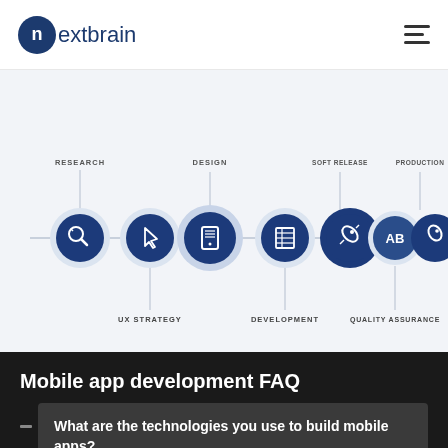[Figure (logo): Nextbrain logo with dark blue circle containing 'n' and the text 'nextbrain']
[Figure (flowchart): Mobile app development process flow with 7 circular icon steps connected by a horizontal line. Steps labeled: RESEARCH, DESIGN, UX STRATEGY, DEVELOPMENT, QUALITY ASSURANCE, SOFT RELEASE (partial), PRODUCTION (partial). Icons show magnifying glass, cursor, mobile UI, calculator/spreadsheet, rocket, AB testing, rocket.]
Mobile app development FAQ
What are the technologies you use to build mobile apps?
Our app developers in Winnipeg are highly proficient in developing apps using